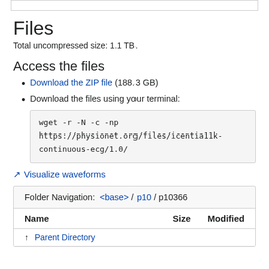Files
Total uncompressed size: 1.1 TB.
Access the files
Download the ZIP file (188.3 GB)
Download the files using your terminal:
wget -r -N -c -np https://physionet.org/files/icentia11k-continuous-ecg/1.0/
Visualize waveforms
| Name | Size | Modified |
| --- | --- | --- |
| Parent Directory |  |  |
Folder Navigation: <base> / p10 / p10366